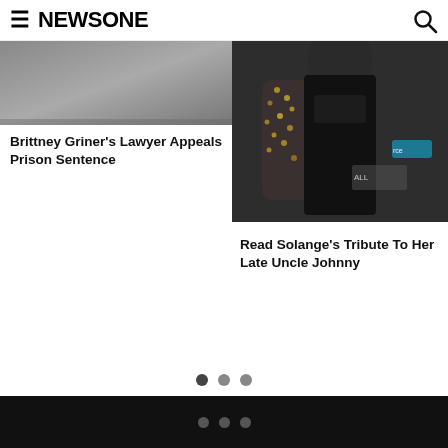NEWSONE
[Figure (photo): Partial image of article about Brittney Griner's lawyer appealing prison sentence]
Brittney Griner's Lawyer Appeals Prison Sentence
[Figure (photo): Photo of Solange wearing black outfit with sequined sleeves at an event]
Read Solange's Tribute To Her Late Uncle Johnny